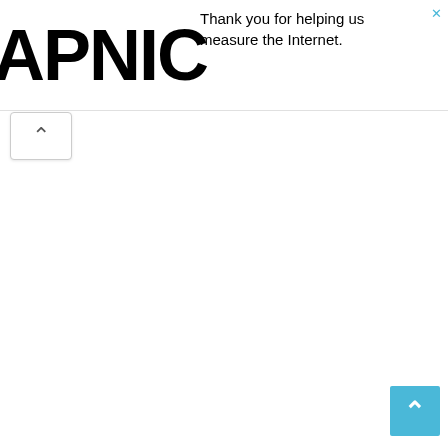[Figure (logo): APNIC logo in large bold black text]
Thank you for helping us measure the Internet.
[Figure (other): Collapse/chevron up button in white rounded box]
[Figure (other): Scroll to top button - cyan/blue square with upward chevron in bottom right corner]